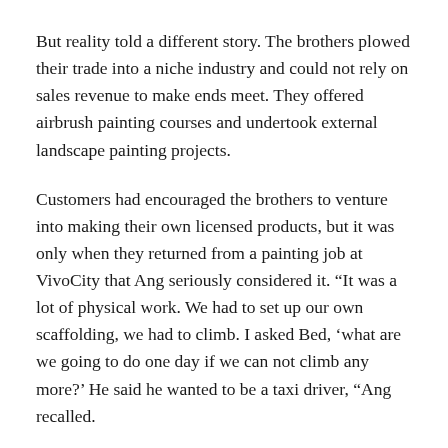But reality told a different story. The brothers plowed their trade into a niche industry and could not rely on sales revenue to make ends meet. They offered airbrush painting courses and undertook external landscape painting projects.
Customers had encouraged the brothers to venture into making their own licensed products, but it was only when they returned from a painting job at VivoCity that Ang seriously considered it. “It was a lot of physical work. We had to set up our own scaffolding, we had to climb. I asked Bed, ‘what are we going to do one day if we can not climb any more?’ He said he wanted to be a taxi driver, “Ang recalled.
Ang was determined not to let their artistic experience be wasted and started looking for licensors to work with. Their big breakthrough came in 2013, when Disney agreed